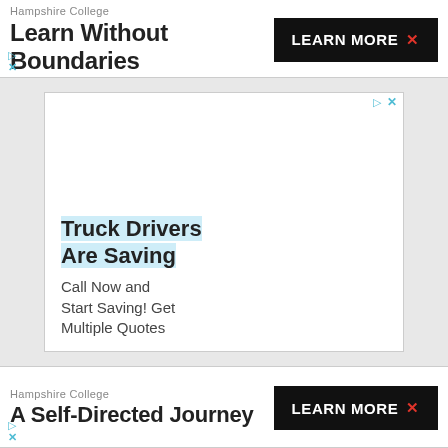Hampshire College
Learn Without Boundaries
LEARN MORE
[Figure (screenshot): Inner advertisement box with ad icons (play and X) at top right. Contains headline 'Truck Drivers Are Saving' (highlighted in light blue) and body text 'Call Now and Start Saving! Get Multiple Quotes']
Hampshire College
A Self-Directed Journey
LEARN MORE